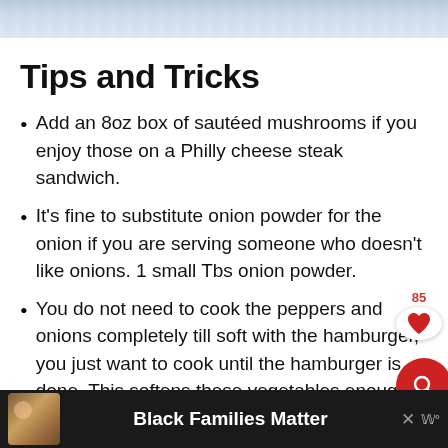[Figure (photo): Top portion of a food/recipe photo, partially visible at the top of the page]
Tips and Tricks
Add an 8oz box of sautéed mushrooms if you enjoy those on a Philly cheese steak sandwich.
It's fine to substitute onion powder for the onion if you are serving someone who doesn't like onions. 1 small onion = 1 Tbs onion powder.
You do not need to cook the peppers and onions completely till soft with the hamburger, you just want to cook until the hamburger is done. This softens these vegetables enough so
[Figure (advertisement): Black bar advertisement at the bottom reading 'Black Families Matter' with a photo of a smiling family and a logo]